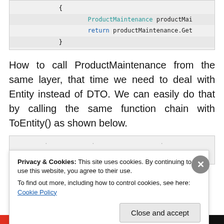[Figure (screenshot): Code block showing C# code with ProductMaintenance and return statements, syntax highlighted in blue/teal on gray background]
How to call ProductMaintenance from the same layer, that time we need to deal with Entity instead of DTO. We can easily do that by calling the same function chain with ToEntity() as shown below.
[Figure (screenshot): Partial code block (cut off at bottom), gray background]
Privacy & Cookies: This site uses cookies. By continuing to use this website, you agree to their use.
To find out more, including how to control cookies, see here: Cookie Policy
Close and accept